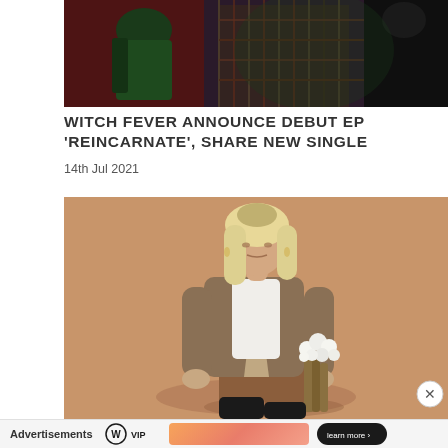[Figure (photo): Top portion of a photo showing two or three people wearing colorful/dark clothing including a green satin jacket and a plaid outfit, with dramatic red/green lighting]
WITCH FEVER ANNOUNCE DEBUT EP ‘REINCARNATE’, SHARE NEW SINGLE
14th Jul 2021
[Figure (photo): A blonde woman wearing a brown coat and white shirt holding a bunch of white flowers, seated against a tan/beige background, looking at the camera with a serious expression]
Advertisements